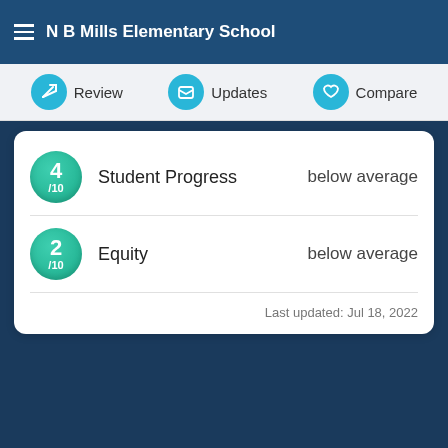N B Mills Elementary School
Review | Updates | Compare
| Score | Category | Rating |
| --- | --- | --- |
| 4/10 | Student Progress | below average |
| 2/10 | Equity | below average |
Last updated: Jul 18, 2022